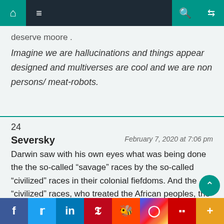Navigation bar with home, menu, search, shuffle icons
deserve moore .
Imagine we are hallucinations and things appear designed and multiverses are cool and we are non persons/ meat-robots.
24
Seversky
February 7, 2020 at 7:06 pm
Darwin saw with his own eyes what was being done the the so-called “savage” races by the so-called “civilized” races in their colonial fiefdoms. And the “civilized” races, who treated the African peoples, the Aborigines in
f  Twitter  in  Pinterest  Reddit  Instagram  Flipboard  More